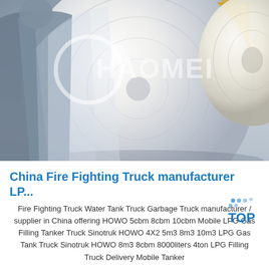[Figure (photo): Industrial warehouse photo showing a large white cylindrical roll/spool lying on the floor. A worker in a grey/blue work suit is visible on the left side inspecting or handling the roll. Another worker in yellow clothing is visible in the background on the right. A second white roll is partially visible on the far right. A watermark reading 'HAOMEI' with a circular logo element is overlaid on the image.]
China Fire Fighting Truck manufacturer LP...
Fire Fighting Truck Water Tank Truck Garbage Truck manufacturer / supplier in China offering HOWO 5cbm 8cbm 10cbm Mobile LPG Gas Filling Tanker Truck Sinotruk HOWO 4X2 5m3 8m3 10m3 LPG Gas Tank Truck Sinotruk HOWO 8m3 8cbm 8000liters 4ton LPG Filling Truck Delivery Mobile Tanker